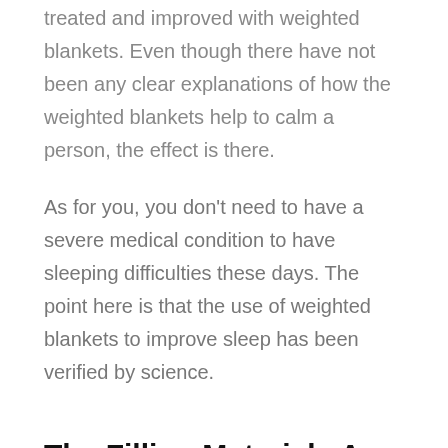treated and improved with weighted blankets. Even though there have not been any clear explanations of how the weighted blankets help to calm a person, the effect is there.
As for you, you don't need to have a severe medical condition to have sleeping difficulties these days. The point here is that the use of weighted blankets to improve sleep has been verified by science.
The Filling Materials Are Various
There are six filling materials available for weighted blankets, but we're going to discuss only the most common three